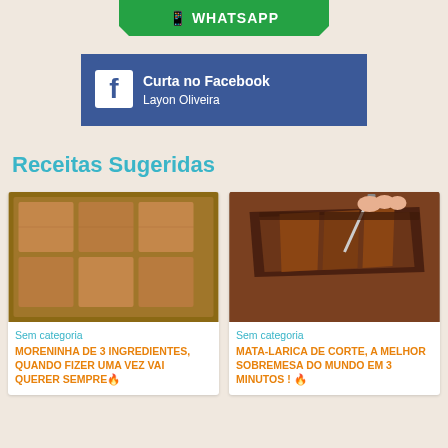[Figure (infographic): WhatsApp green banner at top with WhatsApp icon and text]
[Figure (infographic): Facebook blue zigzag ribbon banner with Facebook icon, text 'Curta no Facebook' and 'Layon Oliveira']
Receitas Sugeridas
[Figure (photo): Photo of moreninha (coconut squares) arranged in a baking tray]
Sem categoria
MORENINHA DE 3 INGREDIENTES, QUANDO FIZER UMA VEZ VAI QUERER SEMPRE🔥
[Figure (photo): Photo of chocolate dessert (mata-larica) being sliced]
Sem categoria
MATA-LARICA DE CORTE, A MELHOR SOBREMESA DO MUNDO EM 3 MINUTOS ! 🔥